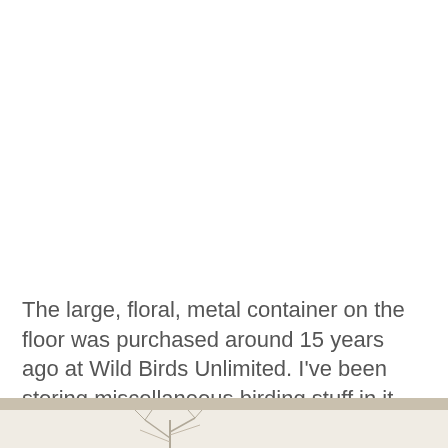The large, floral, metal container on the floor was purchased around 15 years ago at Wild Birds Unlimited. I've been storing miscellaneous birding stuff in it.
[Figure (photo): Bottom portion of a photo showing a plant or dried floral arrangement against a light beige background, with a tan/beige horizontal bar at the top of the image area.]